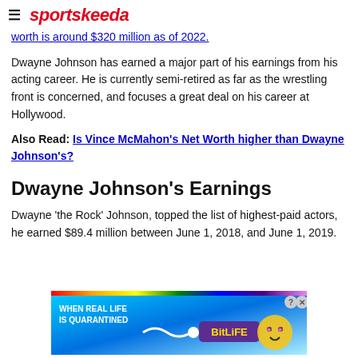sportskeeda
worth is around $320 million as of 2022.
Dwayne Johnson has earned a major part of his earnings from his acting career. He is currently semi-retired as far as the wrestling front is concerned, and focuses a great deal on his career at Hollywood.
Also Read: Is Vince McMahon's Net Worth higher than Dwayne Johnson's?
Dwayne Johnson's Earnings
Dwayne 'the Rock' Johnson, topped the list of highest-paid actors, he earned $89.4 million between June 1, 2018, and June 1, 2019.
[Figure (other): BitLife advertisement banner with rainbow bar at top, text 'WHEN REAL LIFE IS QUARANTINED' on the left, a squiggle arrow, BitLife logo in the center, and cartoon character on right. Close button at top right.]